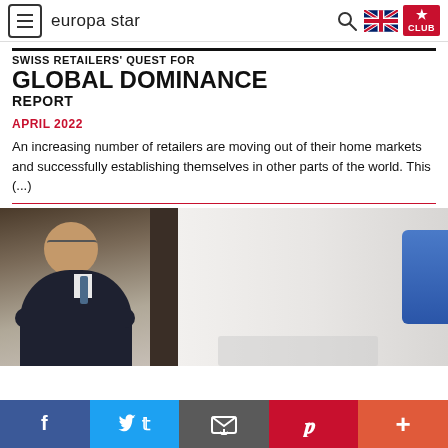europa star
GLOBAL DOMINANCE
REPORT
APRIL 2022
An increasing number of retailers are moving out of their home markets and successfully establishing themselves in other parts of the world. This (...)
[Figure (photo): Left: portrait photo of a man in a dark suit with glasses, arms crossed. Right: partial view of another image with a blue object on white background.]